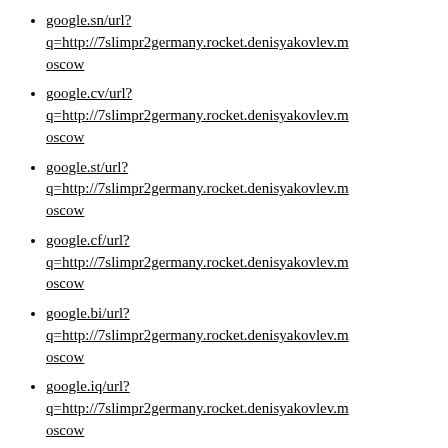google.sn/url?q=http://7slimpr2germany.rocket.denisyakovlev.moscow
google.cv/url?q=http://7slimpr2germany.rocket.denisyakovlev.moscow
google.st/url?q=http://7slimpr2germany.rocket.denisyakovlev.moscow
google.cf/url?q=http://7slimpr2germany.rocket.denisyakovlev.moscow
google.bi/url?q=http://7slimpr2germany.rocket.denisyakovlev.moscow
google.iq/url?q=http://7slimpr2germany.rocket.denisyakovlev.moscow
google.rs/url?